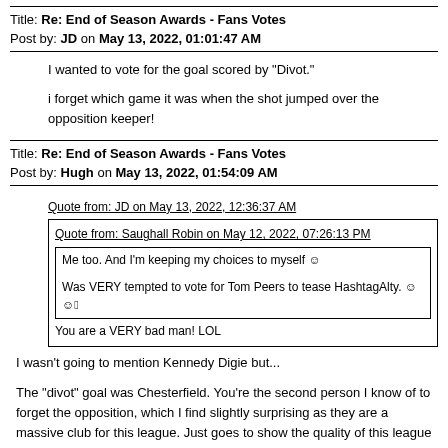Title: Re: End of Season Awards - Fans Votes
Post by: JD on May 13, 2022, 01:01:47 AM
I wanted to vote for the goal scored by "Divot."
i forget which game it was when the shot jumped over the opposition keeper!
Title: Re: End of Season Awards - Fans Votes
Post by: Hugh on May 13, 2022, 01:54:09 AM
Quote from: JD on May 13, 2022, 12:36:37 AM
Quote from: Saughall Robin on May 12, 2022, 07:26:13 PM
Me too. And I'm keeping my choices to myself ☺
Was VERY tempted to vote for Tom Peers to tease HashtagAlty. ☺☺🏻
You are a VERY bad man! LOL
I wasn't going to mention Kennedy Digie but...
The "divot" goal was Chesterfield. You're the second person I know of to forget the opposition, which I find slightly surprising as they are a massive club for this league. Just goes to show the quality of this league these days, I guess.
If I could vote for best away fans, it may well be Chesterfield (and not least, for their excellent rendition of the "zigger